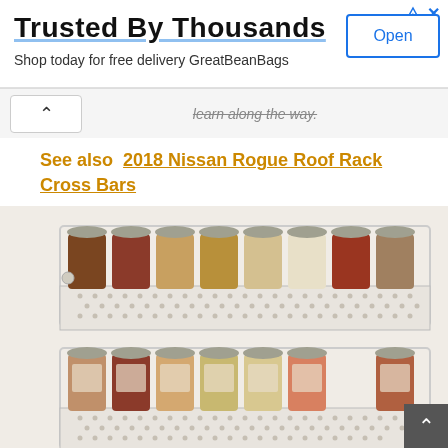[Figure (screenshot): Advertisement banner: 'Trusted By Thousands' with Open button and subtitle 'Shop today for free delivery GreatBeanBags']
learn along the way.
See also  2018 Nissan Rogue Roof Rack Cross Bars
[Figure (photo): Photo of a white wire spice rack mounted on a wall, holding two rows of small brown glass spice jars with silver lids.]